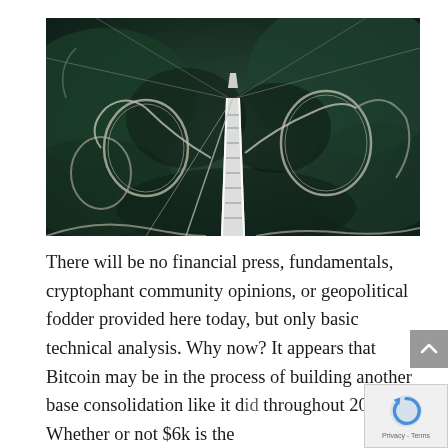[Figure (photo): Aerial view of a roller coaster with loops and tracks winding over green terrain, viewed from the top of a steep drop. Dark green/teal toned photograph.]
There will be no financial press, fundamentals, cryptophant community opinions, or geopolitical fodder provided here today, but only basic technical analysis. Why now? It appears that Bitcoin may be in the process of building another base consolidation like it did throughout 2015. Whether or not $6k is the